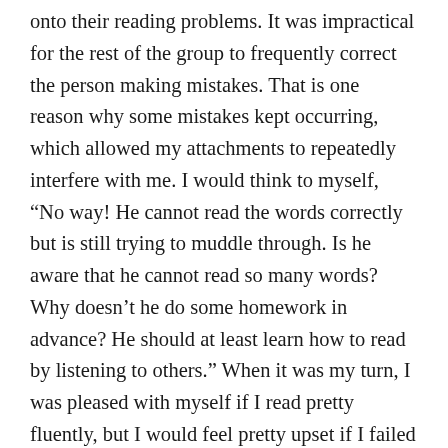onto their reading problems. It was impractical for the rest of the group to frequently correct the person making mistakes. That is one reason why some mistakes kept occurring, which allowed my attachments to repeatedly interfere with me. I would think to myself, “No way! He cannot read the words correctly but is still trying to muddle through. Is he aware that he cannot read so many words? Why doesn’t he do some homework in advance? He should at least learn how to read by listening to others.” When it was my turn, I was pleased with myself if I read pretty fluently, but I would feel pretty upset if I failed to read fluently or made mistakes. Every time I was distracted by my own thoughts, I would always ask and remind myself, “How come I still have these chaotic attachments? How can I study the Fa like this? It is disrespectful to the Fa! What strong attachments they are! What little magnanimity! Unable to tolerate others’ shortcomings! Attached to teaching others and showing off!” There was a battle between rationality (or righteous thoughts) and human attachments, with each side fluctuating